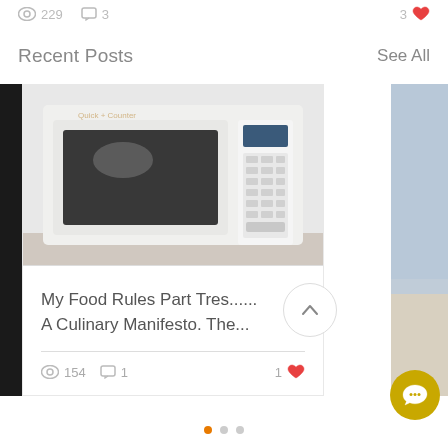229  3  3
Recent Posts
See All
[Figure (photo): Photo of a white microwave oven with black glass door and keypad panel]
My Food Rules Part Tres...... A Culinary Manifesto. The...
154  1  1